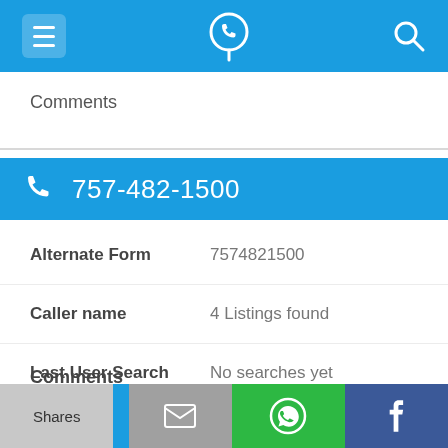[Figure (screenshot): Mobile app top navigation bar with hamburger menu icon on left, phone/location app logo in center, and search icon on right, all on blue background]
Comments
[Figure (screenshot): Blue phone bar showing phone number 757-482-1500 with phone icon]
| Alternate Form | 7574821500 |
| Caller name | 4 Listings found |
| Last User Search | No searches yet |
Comments
[Figure (screenshot): Bottom share bar with Shares label (gray), blue segment, email icon (gray), WhatsApp icon (green), Facebook icon (dark blue)]